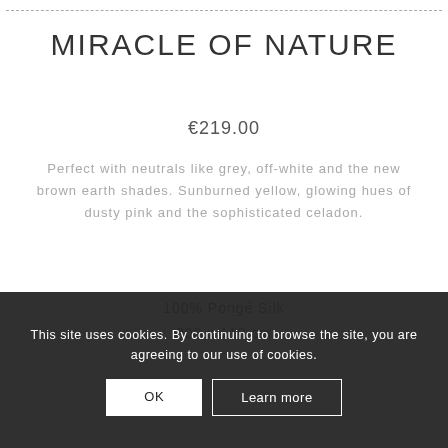MIRACLE OF NATURE
€219.00
Perfect with neutrals like grey, off-white and the new brown earth shades. Sunburned yellow, glowing hues of dusty pink and the sophisticated celadon.
100% Pongé Silk
200 x 110 cm
This site uses cookies. By continuing to browse the site, you are agreeing to our use of cookies.